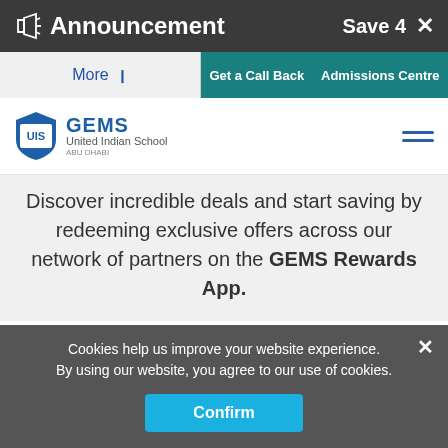Announcement  Save 4  X
More   Get a Call Back   Admissions Centre
[Figure (logo): GEMS United Indian School shield logo with blue shield, UIS text, GEMS in blue letters, and United Indian School subtitle]
Discover incredible deals and start saving by redeeming exclusive offers across our network of partners on the GEMS Rewards App.
Cookies help us improve your website experience. By using our website, you agree to our use of cookies.
Confirm